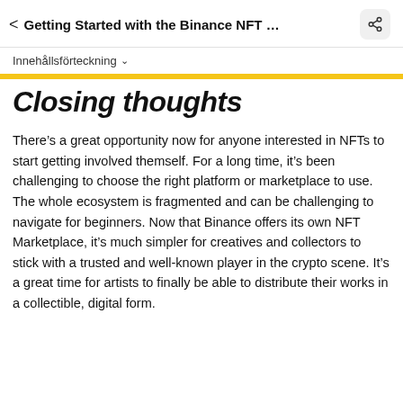Getting Started with the Binance NFT ...
Innehållsförteckning
Closing thoughts
There's a great opportunity now for anyone interested in NFTs to start getting involved themself. For a long time, it's been challenging to choose the right platform or marketplace to use. The whole ecosystem is fragmented and can be challenging to navigate for beginners. Now that Binance offers its own NFT Marketplace, it's much simpler for creatives and collectors to stick with a trusted and well-known player in the crypto scene. It's a great time for artists to finally be able to distribute their works in a collectible, digital form.